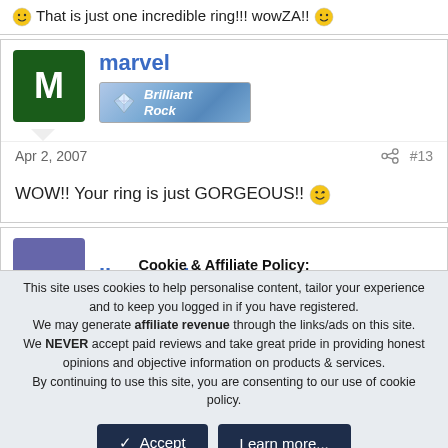😊 That is just one incredible ring!!! wowZA!! 😊
marvel
[Figure (logo): Brilliant Rock badge/logo with diamond icon]
Apr 2, 2007   #13
WOW!! Your ring is just GORGEOUS!! 😉
iheartscience
Cookie & Affiliate Policy: This site uses cookies to help personalise content, tailor your experience and to keep you logged in if you have registered. We may generate affiliate revenue through the links/ads on this site. We NEVER accept paid reviews and take great pride in providing honest opinions and objective information on products & services. By continuing to use this site, you are consenting to our use of cookie policy.